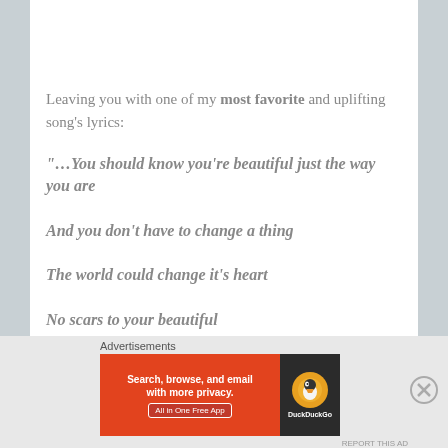Leaving you with one of my most favorite and uplifting song's lyrics:
“…You should know you’re beautiful just the way you are

And you don’t have to change a thing

The world could change it’s heart

No scars to your beautiful
[Figure (screenshot): DuckDuckGo advertisement banner: orange background on left with text 'Search, browse, and email with more privacy. All in One Free App', dark background on right with DuckDuckGo duck logo and brand name.]
Advertisements